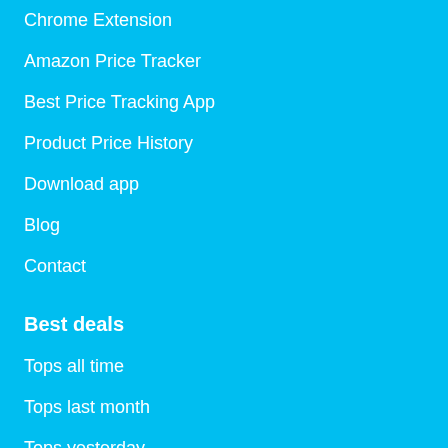Chrome Extension
Amazon Price Tracker
Best Price Tracking App
Product Price History
Download app
Blog
Contact
Best deals
Tops all time
Tops last month
Tops yesterday
Lowest price ever
Stock alerts